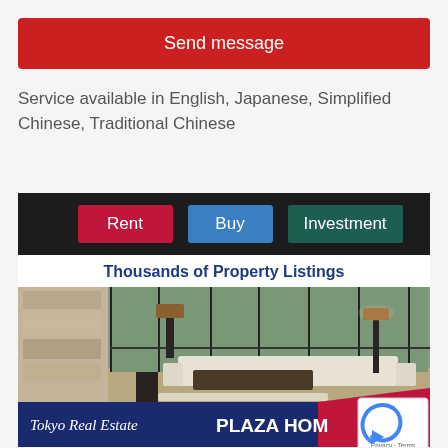Send message
Service available in English, Japanese, Simplified Chinese, Traditional Chinese
[Figure (infographic): Tokyo Real Estate Plaza Homes banner with Rent, Buy, Investment buttons, 'Thousands of Property Listings' tagline, interior living room photo, and navy/red bottom bar with brand name]